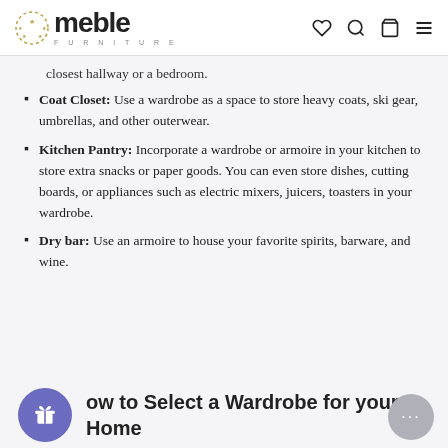meble FURNITURE
closest hallway or a bedroom.
Coat Closet: Use a wardrobe as a space to store heavy coats, ski gear, umbrellas, and other outerwear.
Kitchen Pantry: Incorporate a wardrobe or armoire in your kitchen to store extra snacks or paper goods. You can even store dishes, cutting boards, or appliances such as electric mixers, juicers, toasters in your wardrobe.
Dry bar: Use an armoire to house your favorite spirits, barware, and wine.
How to Select a Wardrobe for your Home